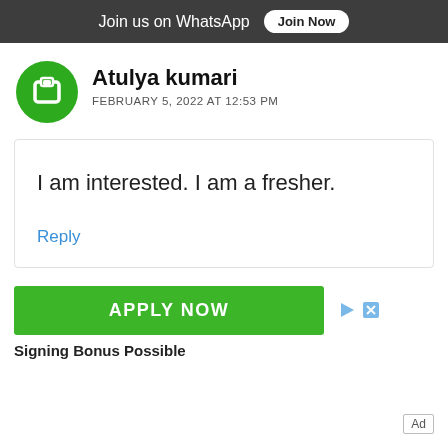Join us on WhatsApp  Join Now
Atulya kumari
FEBRUARY 5, 2022 AT 12:53 PM
I am interested. I am a fresher.
Reply
[Figure (other): Green APPLY NOW button advertisement with ad close/play icons]
Signing Bonus Possible
Ad